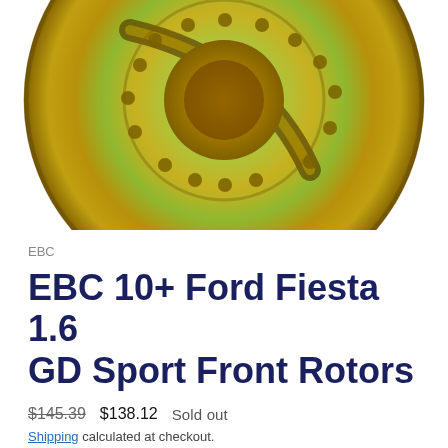[Figure (photo): EBC drilled and slotted brake rotor disc, gold/iridescent finish, partially cropped at top]
EBC
EBC 10+ Ford Fiesta 1.6 GD Sport Front Rotors
$145.39  $138.12  Sold out
Shipping calculated at checkout.
Quantity
− 1 +